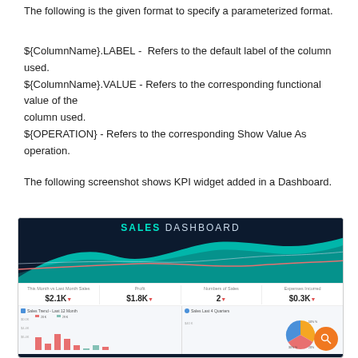The following is the given format to specify a parameterized format.
${ColumnName}.LABEL -  Refers to the default label of the column used.
${ColumnName}.VALUE - Refers to the corresponding functional value of the column used.
${OPERATION} - Refers to the corresponding Show Value As operation.
The following screenshot shows KPI widget added in a Dashboard.
[Figure (screenshot): Sales Dashboard screenshot showing KPI widgets with values: This Month vs Last Month Sales $2.1K, Profit $1.8K, Numbers of Sales 2, Expenses Incurred $0.3K, along with area charts and a pie chart, and an orange search FAB button.]